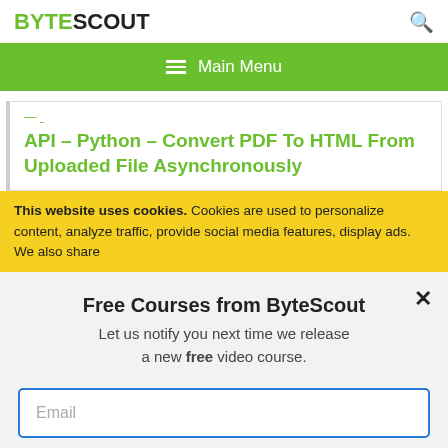BYTESCOUT
≡  Main Menu
API – Python – Convert PDF To HTML From Uploaded File Asynchronously
This website uses cookies. Cookies are used to personalize content, analyze traffic, provide social media features, display ads. We also share
Free Courses from ByteScout
Let us notify you next time we release a new free video course.
Email
SUBSCRIBE